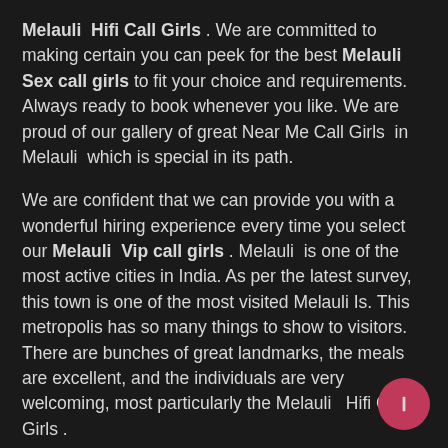Melauli  Hifi Call Girls . We are committed to making certain you can peek for the best Melauli Sex call girls  to fit your choice and requirements. Always ready to book whenever you like. We are proud of our gallery of great Near Me Call Girls  in Melauli  which is special in its path.
We are confident that we can provide you with a wonderful hiring experience every time you select our Melauli  Vip call girls . Melauli  is one of the most active cities in India. As per the latest survey, this town is one of the most visited Melauli Is. This metropolis has so many things to show to visitors. There are bunches of great landmarks, the meals are excellent, and the individuals are very welcoming, most particularly the Melauli   Hifi Call Girls .